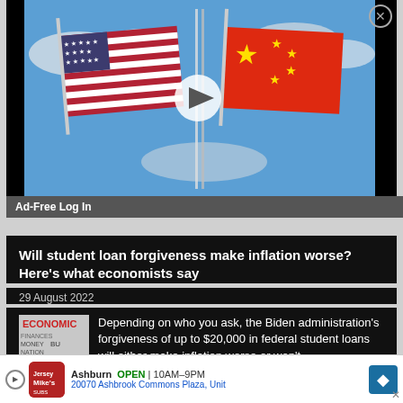[Figure (screenshot): Video thumbnail showing US flag and Chinese flag side by side with a play button in the center, against a blue sky background. Black banner ad container with close X button.]
Ad-Free Log In
Will student loan forgiveness make inflation worse? Here's what economists say
29 August 2022
Depending on who you ask, the Biden administration's forgiveness of up to $20,000 in federal student loans will either make inflation worse or won't
[Figure (screenshot): Bottom advertisement bar: Jersey Mike's logo, Ashburn OPEN 10AM-9PM, 20070 Ashbrook Commons Plaza, Unit, with blue navigation arrow icon]